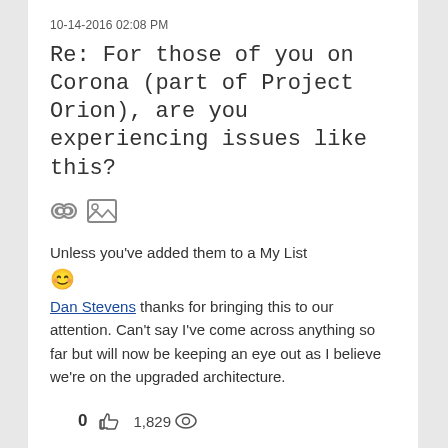10-14-2016 02:08 PM
Re: For those of you on Corona (part of Project Orion), are you experiencing issues like this?
[Figure (illustration): Two small icons: a chain link icon and an image/photo icon]
Unless you've added them to a My List 😊 Dan Stevens thanks for bringing this to our attention. Can't say I've come across anything so far but will now be keeping an eye out as I believe we're on the upgraded architecture.
0 👍 1,829 👁